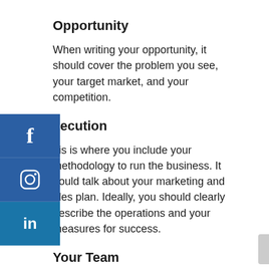Opportunity
When writing your opportunity, it should cover the problem you see, your target market, and your competition.
Execution
This is where you include your methodology to run the business. It should talk about your marketing and sales plan. Ideally, you should clearly describe the operations and your measures for success.
Your Team
When creating a business plan, it is also